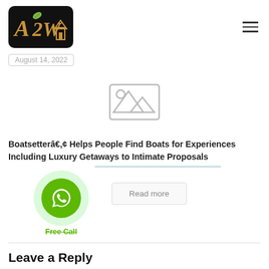[Figure (logo): A2W logo — stylized letters A2W with a house icon on a black rounded rectangle background]
August 14, 2022
[Figure (photo): Broken/missing image placeholder icon (grey mountains and envelope/image outline)]
Boatsetterâ¢ Helps People Find Boats for Experiences Including Luxury Getaways to Intimate Proposals
Read more
Free Call
Leave a Reply